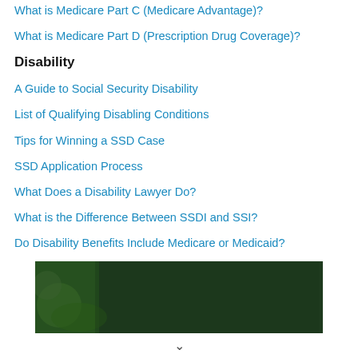What is Medicare Part C (Medicare Advantage)?
What is Medicare Part D (Prescription Drug Coverage)?
Disability
A Guide to Social Security Disability
List of Qualifying Disabling Conditions
Tips for Winning a SSD Case
SSD Application Process
What Does a Disability Lawyer Do?
What is the Difference Between SSDI and SSI?
Do Disability Benefits Include Medicare or Medicaid?
[Figure (photo): Advertisement banner: 'Just $2 can protect 1 acre of irreplaceable forest homes in the Amazon. How many acres are you willing to protect?' with a green 'PROTECT FORESTS NOW' button, showing forest/orangutan imagery.]